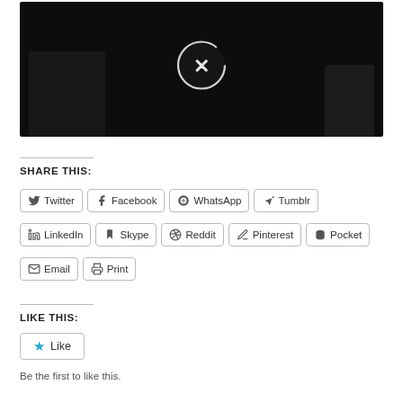[Figure (screenshot): Video thumbnail showing dark stage scene with a circular play button overlay containing an X icon]
SHARE THIS:
Twitter Facebook WhatsApp Tumblr LinkedIn Skype Reddit Pinterest Pocket Email Print
LIKE THIS:
Like
Be the first to like this.